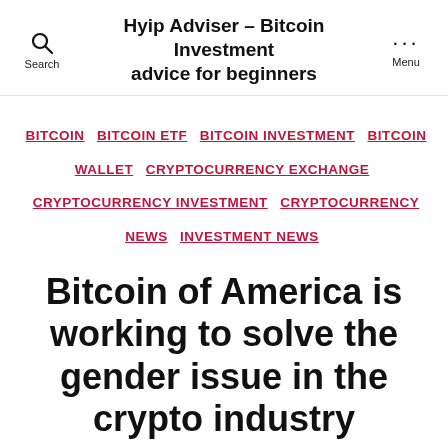Hyip Adviser – Bitcoin Investment advice for beginners
BITCOIN  BITCOIN ETF  BITCOIN INVESTMENT  BITCOIN WALLET  CRYPTOCURRENCY EXCHANGE  CRYPTOCURRENCY INVESTMENT  CRYPTOCURRENCY NEWS  INVESTMENT NEWS
Bitcoin of America is working to solve the gender issue in the crypto industry
By admin   June 17, 2022   No Comments